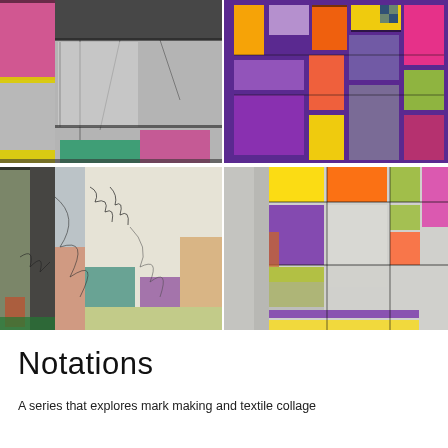[Figure (photo): Four textile collage artworks from the 'Notations' series arranged in a 2x2 grid. Top-left: grey-toned abstract textile collage with pink, green, and yellow accents. Top-right: vibrant purple-based collage with orange, yellow, pink, and green rectangles. Bottom-left: whimsical textile collage with script marks, teal, purple, and neutral tones. Bottom-right: grey-dominant geometric collage with bold blocks of purple, green, orange, and yellow.]
Notations
A series that explores mark making and textile collage